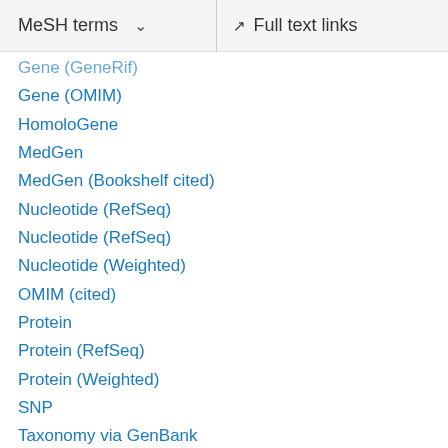MeSH terms    Full text links
Gene (GeneRif)
Gene (OMIM)
HomoloGene
MedGen
MedGen (Bookshelf cited)
Nucleotide (RefSeq)
Nucleotide (RefSeq)
Nucleotide (Weighted)
OMIM (cited)
Protein
Protein (RefSeq)
Protein (Weighted)
SNP
Taxonomy via GenBank
UniGene
LinkOut – more resources